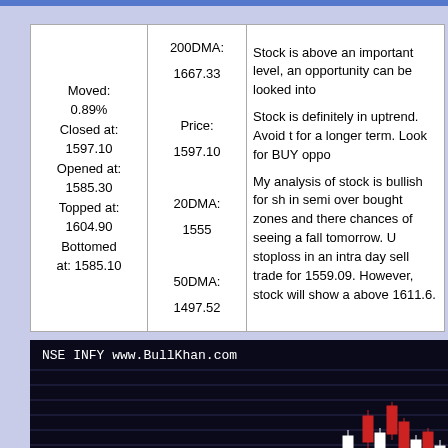| Stats | DMA | Analysis |
| --- | --- | --- |
| Moved: 0.89%
Closed at: 1597.10
Opened at: 1585.30
Topped at: 1604.90
Bottomed at: 1585.10 | 200DMA: 1667.33
Price: 1597.10
20DMA: 1555
50DMA: 1497.52 | Stock is above an important level, an opportunity can be looked into. Stock is definitely in uptrend. Avoid t for a longer term. Look for BUY oppo. My analysis of stock is bullish for sh in semi over bought zones and there chances of seeing a fall tomorrow. U stoploss in an intra day sell trade for 1559.09. However, stock will show a above 1611.6. |
[Figure (other): Candlestick chart for NSE INFY from www.BullKhan.com showing recent price action with white and red candles on a dark background]